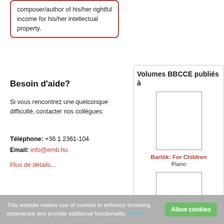composer/author of his/her rightful income for his/her intellectual property.
Besoin d'aide?
Si vous rencontrez une quelconque difficulté, contacter nos collègues:
Téléphone: +36 1 2361-104
Email: info@emb.hu
Plus de détails...
Volumes BBCCE publiés à
[Figure (illustration): Book cover placeholder for Bartók: For Children]
Bartók: For Children
Piano
[Figure (illustration): Book cover placeholder for Bartók: Mikrokosmos]
Bartók: Mikrokosmos
Piano
This website makes use of cookies to enhance browsing experience and provide additional functionality. Details